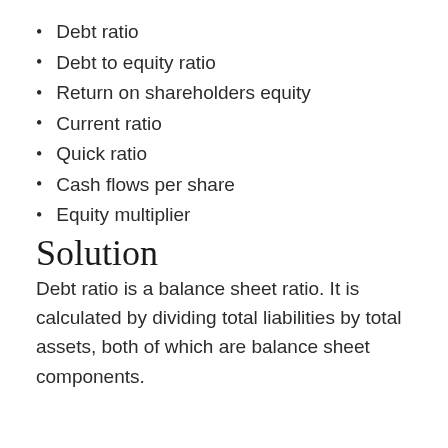Debt ratio
Debt to equity ratio
Return on shareholders equity
Current ratio
Quick ratio
Cash flows per share
Equity multiplier
Solution
Debt ratio is a balance sheet ratio. It is calculated by dividing total liabilities by total assets, both of which are balance sheet components.